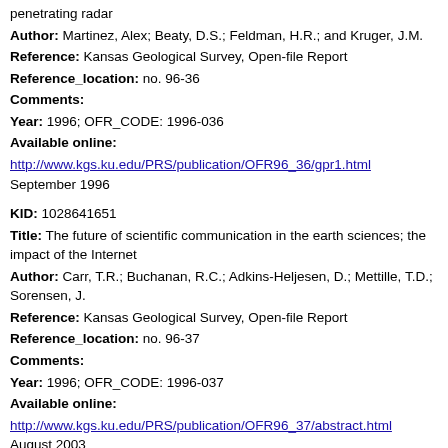penetrating radar
Author: Martinez, Alex; Beaty, D.S.; Feldman, H.R.; and Kruger, J.M.
Reference: Kansas Geological Survey, Open-file Report
Reference_location: no. 96-36
Comments:
Year: 1996; OFR_CODE: 1996-036
Available online:
http://www.kgs.ku.edu/PRS/publication/OFR96_36/gpr1.html
September 1996
KID: 1028641651
Title: The future of scientific communication in the earth sciences; the impact of the Internet
Author: Carr, T.R.; Buchanan, R.C.; Adkins-Heljesen, D.; Mettille, T.D.; Sorensen, J.
Reference: Kansas Geological Survey, Open-file Report
Reference_location: no. 96-37
Comments:
Year: 1996; OFR_CODE: 1996-037
Available online:
http://www.kgs.ku.edu/PRS/publication/OFR96_37/abstract.html
August 2003
KID: 1020642635
Title: The acquisition of ground-truth data in Kansas...